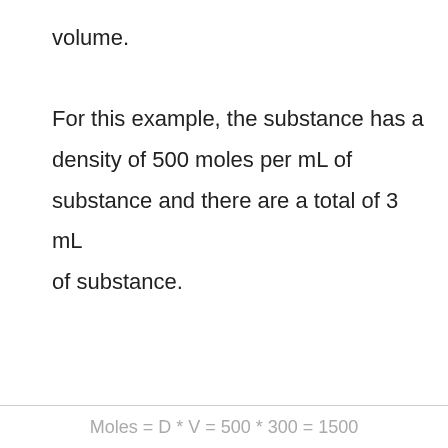volume.

For this example, the substance has a density of 500 moles per mL of substance and there are a total of 3 mL of substance.